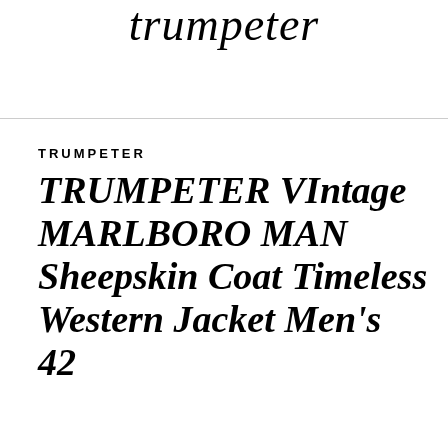trumpeter
TRUMPETER
TRUMPETER VIntage MARLBORO MAN Sheepskin Coat Timeless Western Jacket Men's 42